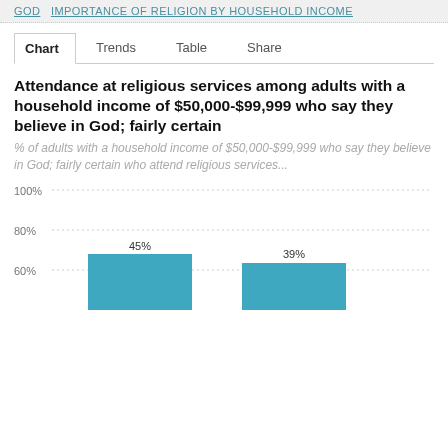GOD  IMPORTANCE OF RELIGION BY HOUSEHOLD INCOME
Chart  Trends  Table  Share
Attendance at religious services among adults with a household income of $50,000-$99,999 who say they believe in God; fairly certain
% of adults with a household income of $50,000-$99,999 who say they believe in God; fairly certain who attend religious services...
[Figure (bar-chart): Attendance at religious services among adults with a household income of $50,000-$99,999 who say they believe in God; fairly certain]